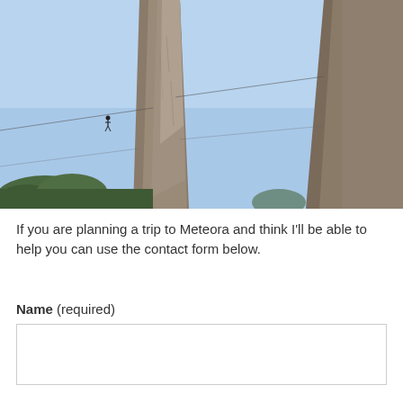[Figure (photo): Photo of tall rock formations at Meteora, Greece, with a person visible on a rope/cable stretched between the rocks against a blue sky background. Trees visible at bottom.]
If you are planning a trip to Meteora and think I'll be able to help you can use the contact form below.
Name (required)